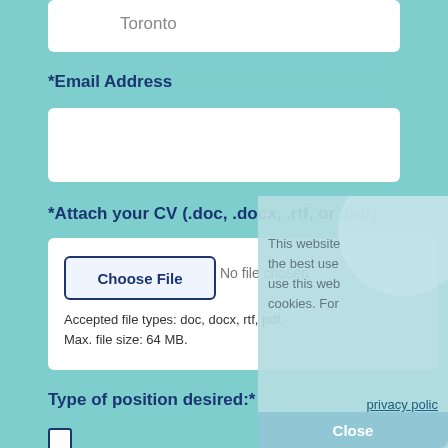Toronto
*Email Address
*Attach your CV (.doc, .docx, .rtf, or .pdf)
Choose File   No file chosen
Accepted file types: doc, docx, rtf, pdf,
Max. file size: 64 MB.
Type of position desired:*
This website the best use use this web cookies. For privacy policy
Close